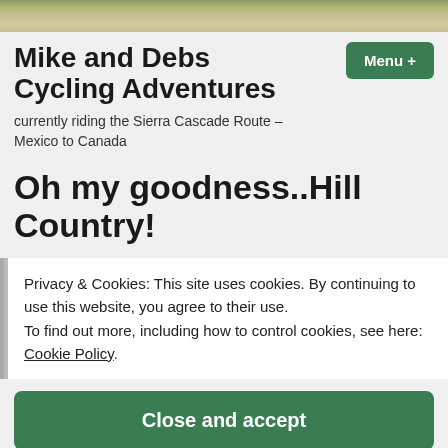[Figure (photo): Outdoor landscape photo strip showing scrubby vegetation and rocky ground, cropped to a narrow horizontal band at the top of the page.]
Mike and Debs Cycling Adventures
currently riding the Sierra Cascade Route – Mexico to Canada
Oh my goodness..Hill Country!
Privacy & Cookies: This site uses cookies. By continuing to use this website, you agree to their use.
To find out more, including how to control cookies, see here: Cookie Policy
Close and accept